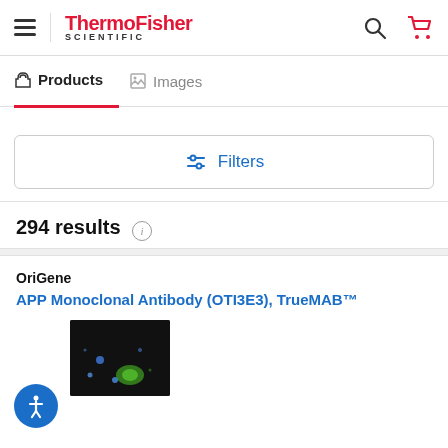ThermoFisher SCIENTIFIC
Products | Images
Filters
294 results
OriGene
APP Monoclonal Antibody (OTI3E3), TrueMAB™
[Figure (photo): Microscopy image showing fluorescence staining with blue and green markers on dark background]